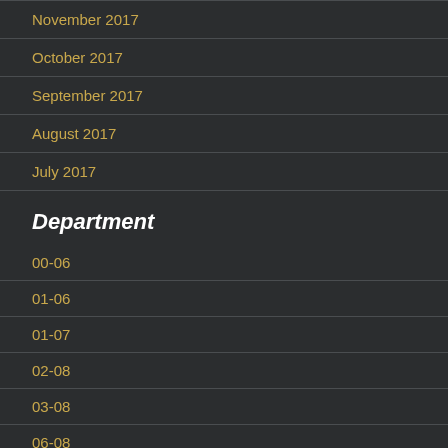November 2017
October 2017
September 2017
August 2017
July 2017
Department
00-06
01-06
01-07
02-08
03-08
06-08